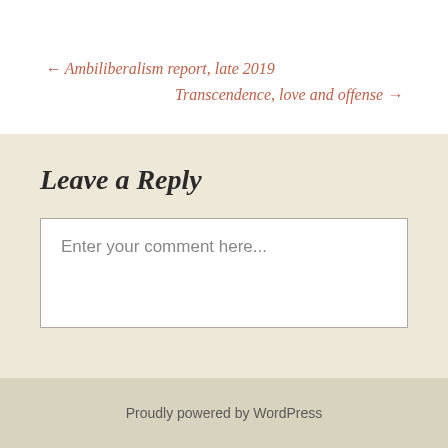← Ambiliberalism report, late 2019
Transcendence, love and offense →
Leave a Reply
Enter your comment here...
Proudly powered by WordPress